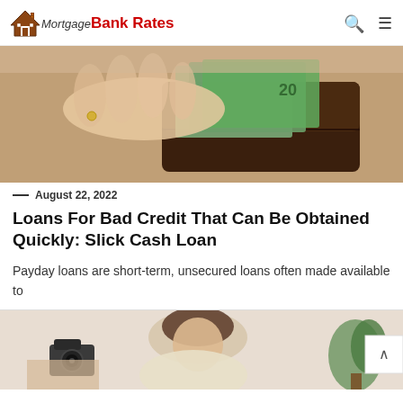Mortgage Bank Rates
[Figure (photo): Close-up of hands pulling $20 dollar bills out of a brown leather wallet]
— August 22, 2022
Loans For Bad Credit That Can Be Obtained Quickly: Slick Cash Loan
Payday loans are short-term, unsecured loans often made available to
[Figure (photo): Woman in a cream sweater looking down stressed, with a camera and plant in the background]